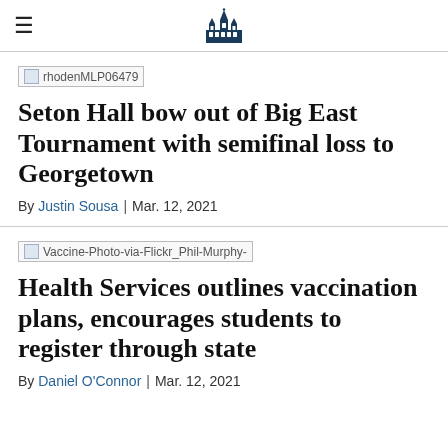≡  [site logo]
[Figure (illustration): rhodenMLP06479 image placeholder thumbnail]
Seton Hall bow out of Big East Tournament with semifinal loss to Georgetown
By Justin Sousa | Mar. 12, 2021
[Figure (illustration): Vaccine-Photo-via-Flickr_Phil-Murphy- image placeholder thumbnail]
Health Services outlines vaccination plans, encourages students to register through state
By Daniel O'Connor | Mar. 12, 2021